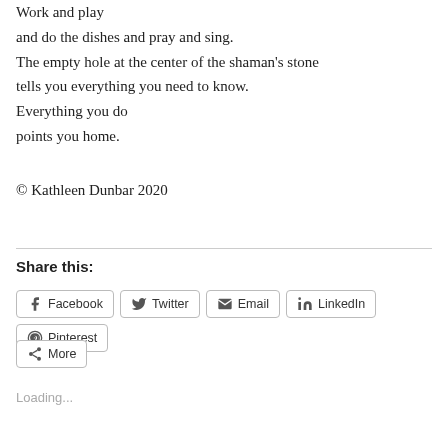Work and play
and do the dishes and pray and sing.
The empty hole at the center of the shaman's stone
tells you everything you need to know.
Everything you do
points you home.

© Kathleen Dunbar 2020
Share this:
Facebook  Twitter  Email  LinkedIn  Pinterest  More
Loading...